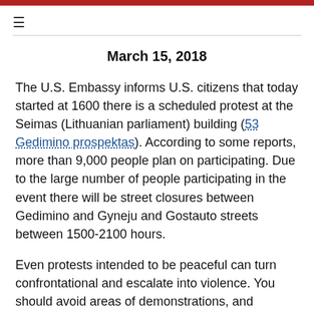≡
March 15, 2018
The U.S. Embassy informs U.S. citizens that today started at 1600 there is a scheduled protest at the Seimas (Lithuanian parliament) building (53 Gedimino prospektas). According to some reports, more than 9,000 people plan on participating. Due to the large number of people participating in the event there will be street closures between Gedimino and Gyneju and Gostauto streets between 1500-2100 hours.
Even protests intended to be peaceful can turn confrontational and escalate into violence. You should avoid areas of demonstrations, and exercise caution if in the vicinity of any large gatherings, protests, or